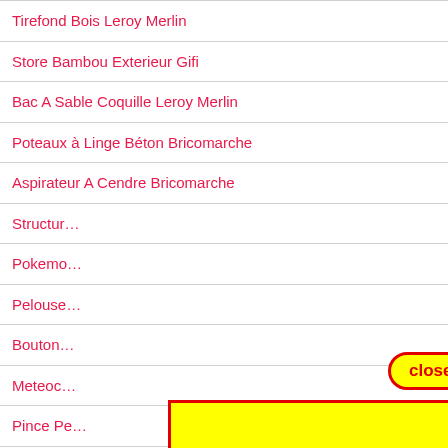Tirefond Bois Leroy Merlin
Store Bambou Exterieur Gifi
Bac A Sable Coquille Leroy Merlin
Poteaux à Linge Béton Bricomarche
Aspirateur A Cendre Bricomarche
Structur…
Pokemo…
Pelouse…
Bouton…
Meteoc…
Pince Pe…
Rideau Occultant Velux Leroy Merlin
[Figure (other): Yellow advertisement overlay with red border covering part of the list, with a 'close' button above it in a pill-shaped red-bordered yellow bubble]